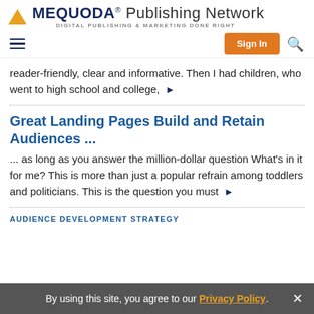MEQUODA® Publishing Network — DIGITAL PUBLISHING & MARKETING DONE RIGHT
reader-friendly, clear and informative. Then I had children, who went to high school and college, ▶
Great Landing Pages Build and Retain Audiences ...
... as long as you answer the million-dollar question What's in it for me? This is more than just a popular refrain among toddlers and politicians. This is the question you must ▶
AUDIENCE DEVELOPMENT STRATEGY
By using this site, you agree to our Privacy Policy.